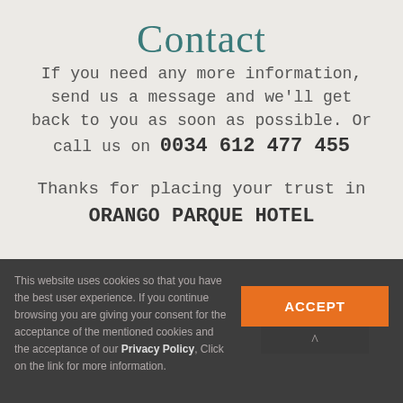Contact
If you need any more information, send us a message and we'll get back to you as soon as possible. Or call us on 0034 612 477 455
Thanks for placing your trust in ORANGO PARQUE HOTEL
This website uses cookies so that you have the best user experience. If you continue browsing you are giving your consent for the acceptance of the mentioned cookies and the acceptance of our Privacy Policy, Click on the link for more information.
ACCEPT